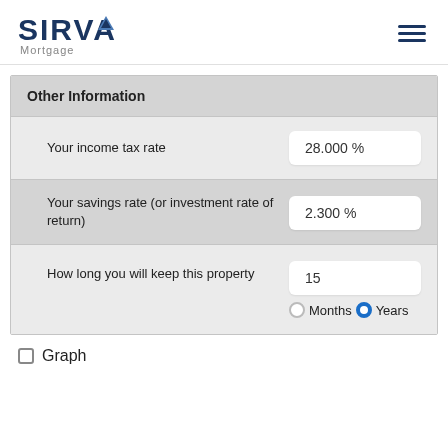SIRVA Mortgage
Other Information
Your income tax rate
28.000 %
Your savings rate (or investment rate of return)
2.300 %
How long you will keep this property
15
Months   Years
Graph